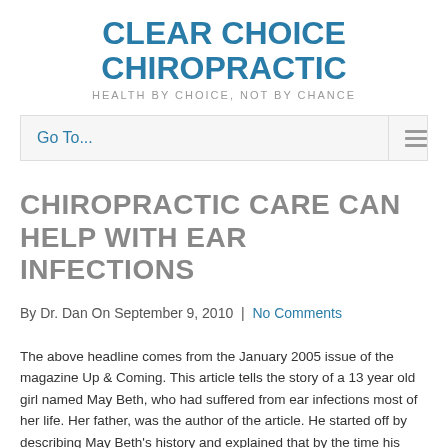CLEAR CHOICE CHIROPRACTIC
HEALTH BY CHOICE, NOT BY CHANCE
Go To...
CHIROPRACTIC CARE CAN HELP WITH EAR INFECTIONS
By Dr. Dan On September 9, 2010  |  No Comments
The above headline comes from the January 2005 issue of the magazine Up & Coming. This article tells the story of a 13 year old girl named May Beth, who had suffered from ear infections most of her life. Her father, was the author of the article. He started off by describing May Beth’s history and explained that by the time his daughter was 13 months old, she’d had 11 ear infections. He